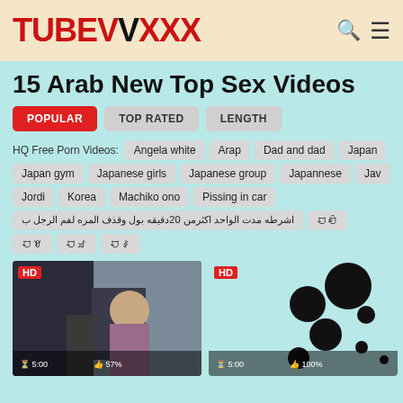TUBEVXXX
15 Arab New Top Sex Videos
POPULAR | TOP RATED | LENGTH
HQ Free Porn Videos: Angela white  Arap  Dad and dad  Japan  Japan gym  Japanese girls  Japanese group  Japannese  Jav  Jordi  Korea  Machiko ono  Pissing in car  اشرطه مدت الواحد اكثرمن 20دقيقه بول وقذف المره لفم الرجل ب  🀱🀱  🀱🀱  🀱🀱  🀱🀱
[Figure (screenshot): Video thumbnail with HD badge, person wearing hijab, duration 5:00, rating 57%]
[Figure (screenshot): Video thumbnail with HD badge, abstract circles/bubbles on teal background, duration 5:00, rating 100%]